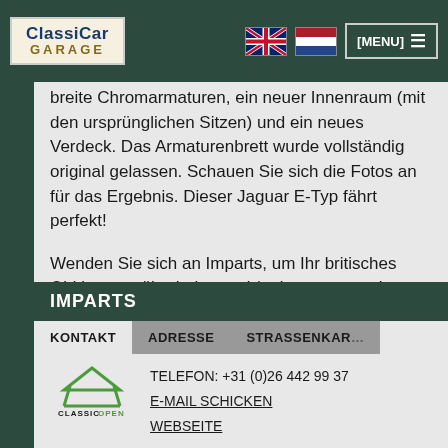ClassiCar GARAGE — Header with navigation flags and menu
breite Chromarmaturen, ein neuer Innenraum (mit den ursprünglichen Sitzen) und ein neues Verdeck. Das Armaturenbrett wurde vollständig original gelassen. Schauen Sie sich die Fotos an für das Ergebnis. Dieser Jaguar E-Typ fährt perfekt!
Wenden Sie sich an Imparts, um Ihr britisches Oldtimer zu überholen und / oder zu restaurieren.
IMPARTS
KONTAKT   ADRESSE   STRASSENKARTE
[Figure (logo): Classic Open logo with house roof shape in green]
TELEFON: +31 (0)26 442 99 37
E-MAIL SCHICKEN
WEBSEITE